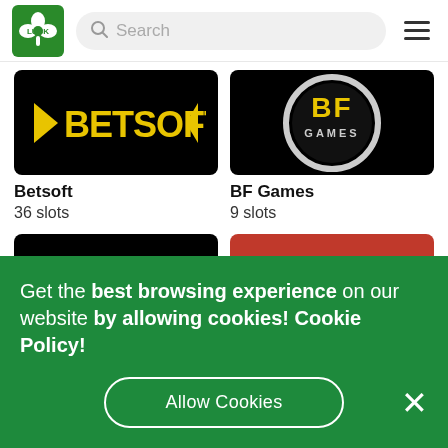[Figure (screenshot): Luck casino website header with green shamrock logo, search bar, and hamburger menu]
[Figure (screenshot): Betsoft provider card showing black background with BETSOFT yellow text logo]
Betsoft
36 slots
[Figure (screenshot): BF Games provider card showing black background with circular BF GAMES logo]
BF Games
9 slots
[Figure (screenshot): Third provider card - black background (partially visible)]
[Figure (screenshot): Fourth provider card - red background with circular logo (partially visible)]
Get the best browsing experience on our website by allowing cookies! Cookie Policy!
Allow Cookies